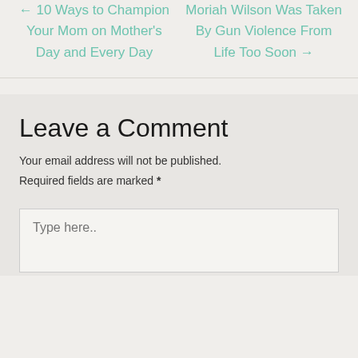← 10 Ways to Champion Your Mom on Mother's Day and Every Day
Moriah Wilson Was Taken By Gun Violence From Life Too Soon →
Leave a Comment
Your email address will not be published. Required fields are marked *